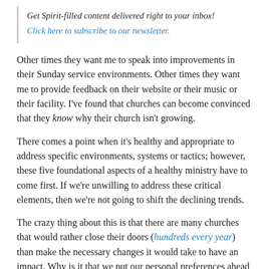Get Spirit-filled content delivered right to your inbox! Click here to subscribe to our newsletter.
Other times they want me to speak into improvements in their Sunday service environments. Other times they want me to provide feedback on their website or their music or their facility. I've found that churches can become convinced that they know why their church isn't growing.
There comes a point when it's healthy and appropriate to address specific environments, systems or tactics; however, these five foundational aspects of a healthy ministry have to come first. If we're unwilling to address these critical elements, then we're not going to shift the declining trends.
The crazy thing about this is that there are many churches that would rather close their doors (hundreds every year) than make the necessary changes it would take to have an impact. Why is it that we put our personal preferences ahead of our